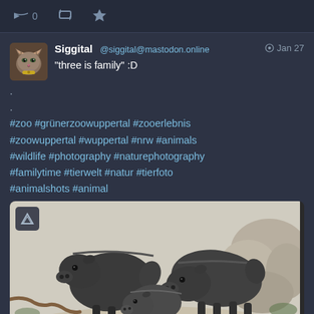0 retweet star icons
Siggital @siggital@mastodon.online  Jan 27
"three is family" :D
.
.
#zoo #grünerzoowuppertal #zooerlebnis #zoowuppertal #wuppertal #nrw #animals #wildlife #photography #naturephotography #familytime #tierwelt #natur #tierfoto #animalshots #animal
[Figure (photo): Three peccaries (pig-like animals) in a zoo enclosure — two adults and one juvenile in the middle, standing on rocky/sandy ground with rocks in the background.]